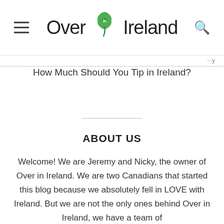Over in Ireland
How Much Should You Tip in Ireland?
ABOUT US
Welcome! We are Jeremy and Nicky, the owner of Over in Ireland. We are two Canadians that started this blog because we absolutely fell in LOVE with Ireland. But we are not the only ones behind Over in Ireland, we have a team of WRITERS...